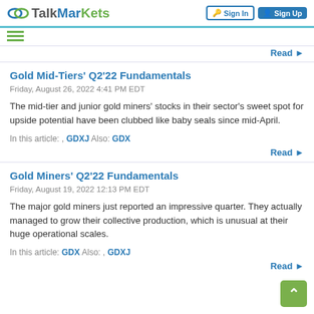TalkMarkets | Sign In | Sign Up
Read ▶
Gold Mid-Tiers' Q2'22 Fundamentals
Friday, August 26, 2022 4:41 PM EDT
The mid-tier and junior gold miners' stocks in their sector's sweet spot for upside potential have been clubbed like baby seals since mid-April.
In this article: , GDXJ Also: GDX
Read ▶
Gold Miners' Q2'22 Fundamentals
Friday, August 19, 2022 12:13 PM EDT
The major gold miners just reported an impressive quarter. They actually managed to grow their collective production, which is unusual at their huge operational scales.
In this article: GDX Also: , GDXJ
Read ▶